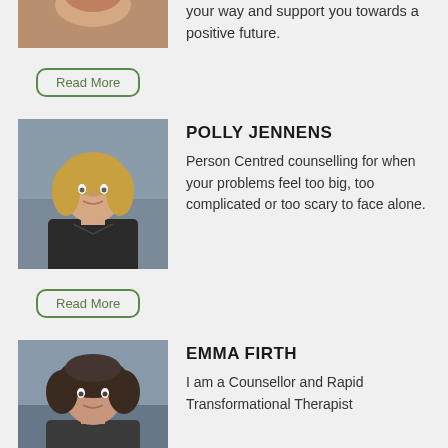[Figure (photo): Partial photo of a therapist at top of page, cropped]
your way and support you towards a positive future.
Read More
[Figure (photo): Photo of Polly Jennens, a woman with blonde hair, smiling]
POLLY JENNENS
Person Centred counselling for when your problems feel too big, too complicated or too scary to face alone.
Read More
[Figure (photo): Photo of Emma Firth, a woman with curly dark hair]
EMMA FIRTH
I am a Counsellor and Rapid Transformational Therapist